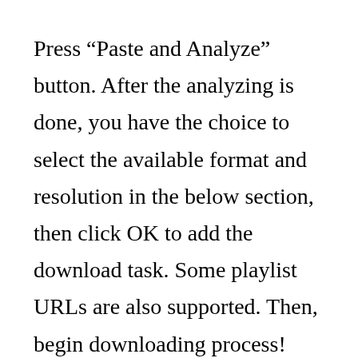Press “Paste and Analyze” button. After the analyzing is done, you have the choice to select the available format and resolution in the below section, then click OK to add the download task. Some playlist URLs are also supported. Then, begin downloading process! The format of music post online is limited to some extent, some websites supporting MP3 downloading only, others being available with WebM or MP4 and minority formats. Jamendo, a music platform and social